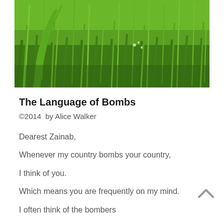[Figure (photo): Photograph of lush green grass field with tall grass blades filling the frame]
The Language of Bombs
©2014  by Alice Walker
Dearest Zainab,
Whenever my country bombs your country,
I think of you.
Which means you are frequently on my mind.
I often think of the bombers
And how little they can see